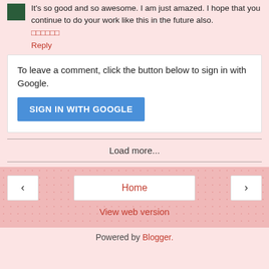It's so good and so awesome. I am just amazed. I hope that you continue to do your work like this in the future also.
□□□□□□
Reply
To leave a comment, click the button below to sign in with Google.
SIGN IN WITH GOOGLE
Load more...
Home
View web version
Powered by Blogger.